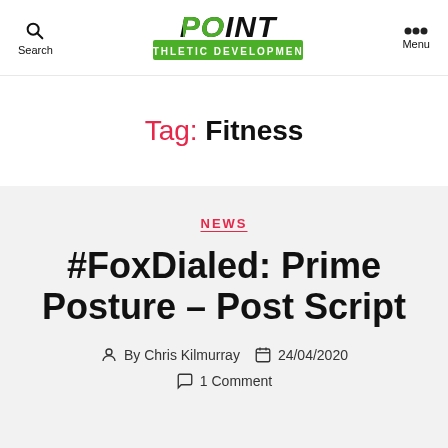Search | [Logo: Point Athletic Development] | Menu
Tag: Fitness
NEWS
#FoxDialed: Prime Posture – Post Script
By Chris Kilmurray  24/04/2020
1 Comment